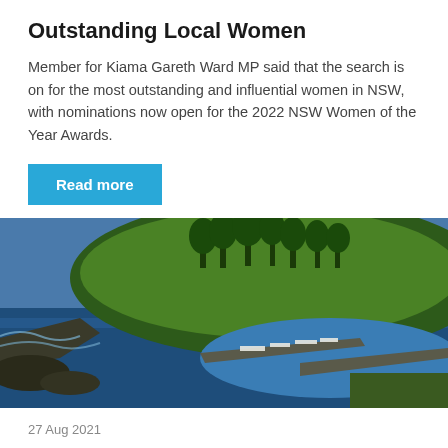Outstanding Local Women
Member for Kiama Gareth Ward MP said that the search is on for the most outstanding and influential women in NSW, with nominations now open for the 2022 NSW Women of the Year Awards.
Read more
[Figure (photo): Aerial photograph of Kiama Harbour showing a coastal headland with green grass and tall trees, a marina with boats, breakwater walls, and deep blue ocean water.]
27 Aug 2021
Kiama Harbour Action Plan and Community Consultation